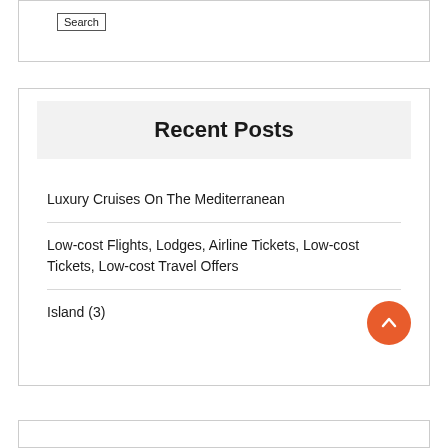[Figure (screenshot): Search button at top of widget box]
Recent Posts
Luxury Cruises On The Mediterranean
Low-cost Flights, Lodges, Airline Tickets, Low-cost Tickets, Low-cost Travel Offers
Island (3)